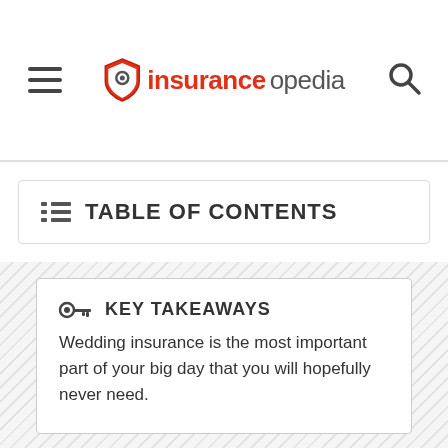insuranceopedia
TABLE OF CONTENTS
KEY TAKEAWAYS
Wedding insurance is the most important part of your big day that you will hopefully never need.